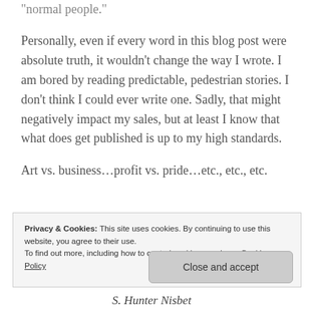Then again, I am a writer, and I don't read like “normal people.”
Personally, even if every word in this blog post were absolute truth, it wouldn’t change the way I wrote. I am bored by reading predictable, pedestrian stories. I don’t think I could ever write one. Sadly, that might negatively impact my sales, but at least I know that what does get published is up to my high standards.
Art vs. business…profit vs. pride…etc., etc., etc.
Privacy & Cookies: This site uses cookies. By continuing to use this website, you agree to their use.
To find out more, including how to control cookies, see here: Cookie Policy
Close and accept
S. Hunter Nisbet